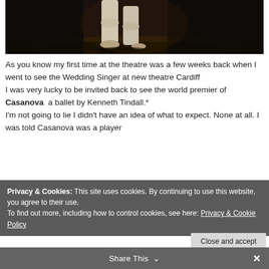[Figure (photo): Ballet dancer legs/feet on a dark stage, cropped showing lower body in white tights and ballet shoes]
As you know my first time at the theatre was a few weeks back when I went to see the Wedding Singer at new theatre Cardiff
I was very lucky to be invited back to see the world premier of Casanova  a ballet by Kenneth Tindall.*
I'm not going to lie I didn't have an idea of what to expect. None at all. I was told Casanova was a player
Privacy & Cookies: This site uses cookies. By continuing to use this website, you agree to their use.
To find out more, including how to control cookies, see here: Privacy & Cookie Policy
Close and accept
Share This ∨
disappointed